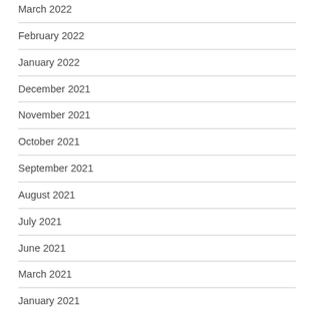March 2022
February 2022
January 2022
December 2021
November 2021
October 2021
September 2021
August 2021
July 2021
June 2021
March 2021
January 2021
August 2020
July 2020